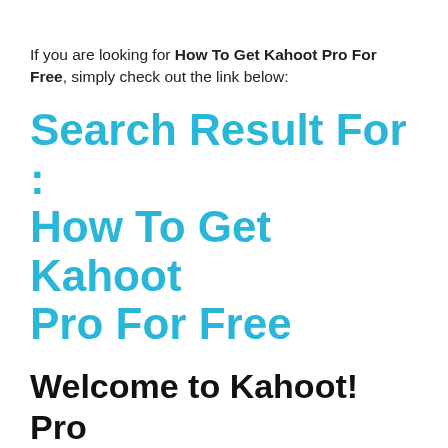If you are looking for How To Get Kahoot Pro For Free, simply check out the link below:
Search Result For : How To Get Kahoot Pro For Free
Welcome to Kahoot! Pro
https://kahoot.com/welcome-pro-trial/
Pro! Hey Kahoot!'er, you're a pro now! Your trial is now activated, and you can test-drive all the awesome features for free. Wondering